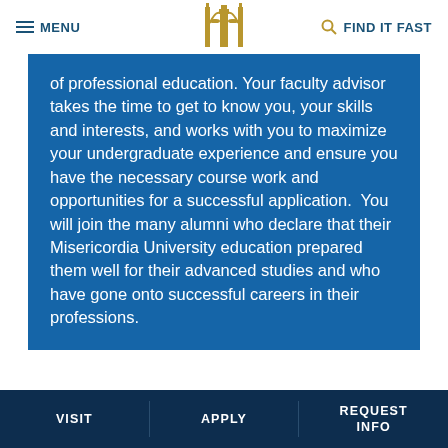MENU   [logo]   FIND IT FAST
of professional education. Your faculty advisor takes the time to get to know you, your skills and interests, and works with you to maximize your undergraduate experience and ensure you have the necessary course work and opportunities for a successful application.  You will join the many alumni who declare that their Misericordia University education prepared them well for their advanced studies and who have gone onto successful careers in their professions.
VISIT   APPLY   REQUEST INFO